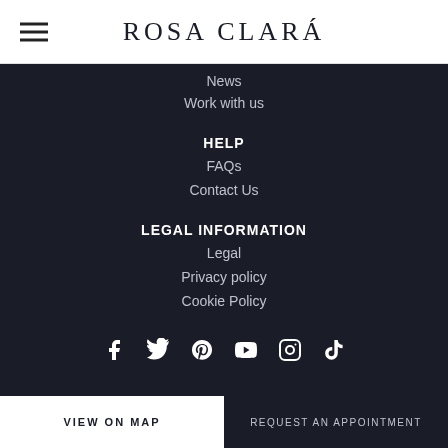ROSA CLARÁ
News
Work with us
HELP
FAQs
Contact Us
LEGAL INFORMATION
Legal
Privacy policy
Cookie Policy
[Figure (other): Social media icons: Facebook, Twitter, Pinterest, YouTube, Instagram, TikTok]
VIEW ON MAP
REQUEST AN APPOINTMENT